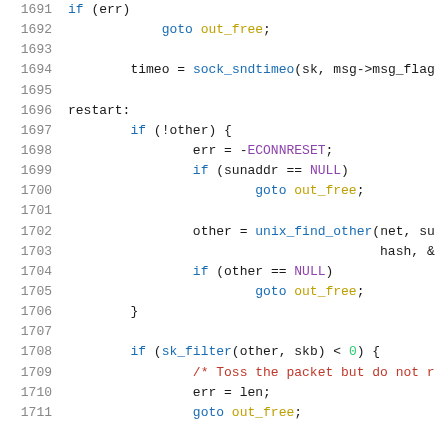Source code listing lines 1691-1711, C kernel code
1691    if (err)
1692            goto out_free;
1693
1694        timeo = sock_sndtimeo(sk, msg->msg_flag
1695
1696  restart:
1697        if (!other) {
1698                err = -ECONNRESET;
1699                if (sunaddr == NULL)
1700                        goto out_free;
1701
1702                other = unix_find_other(net, su
1703                                        hash, &
1704                if (other == NULL)
1705                        goto out_free;
1706        }
1707
1708        if (sk_filter(other, skb) < 0) {
1709                /* Toss the packet but do not r
1710                err = len;
1711                goto out_free;